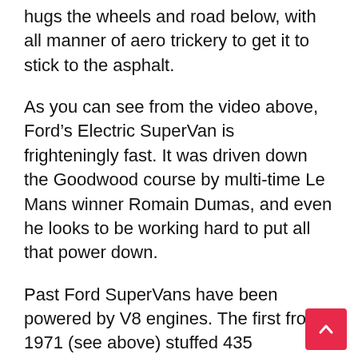hugs the wheels and road below, with all manner of aero trickery to get it to stick to the asphalt.
As you can see from the video above, Ford's Electric SuperVan is frighteningly fast. It was driven down the Goodwood course by multi-time Le Mans winner Romain Dumas, and even he looks to be working hard to put all that power down.
Past Ford SuperVans have been powered by V8 engines. The first from 1971 (see above) stuffed 435 horsepower and 5.0 liters worth of V8 courtesy of a Ford GT40 race car. The second in 1984 upped the ante with a Cosworth-developed 3.9-liter V8 with 590 horsepower at a stratospheric 9,500 rpm. SuperVan 3 hit the scene in 1994, powered by a F1-spec 3.5-